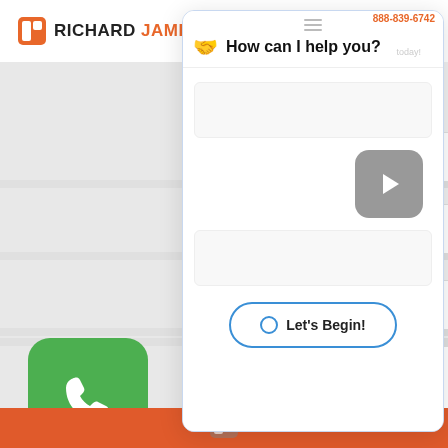[Figure (screenshot): Screenshot of a website for Richard James law firm showing a contact form with Last Name, Phone, Email fields and a chat widget overlay with 'How can I help you?' header, a play button, and a 'Let's Begin!' button. Phone number 888-839-6742 visible top right.]